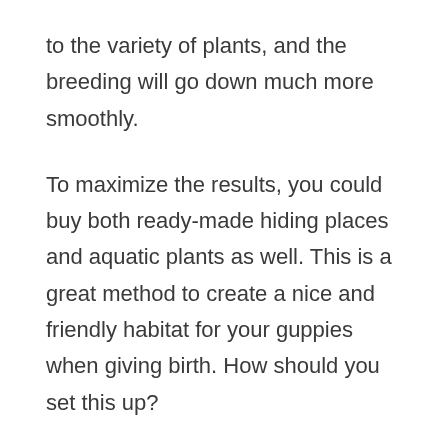to the variety of plants, and the breeding will go down much more smoothly.
To maximize the results, you could buy both ready-made hiding places and aquatic plants as well. This is a great method to create a nice and friendly habitat for your guppies when giving birth. How should you set this up?
It's best to place 1, 2 or 3 hiding caves in peaceful spots inside the aquarium. In front of all these caves, you can place aquatic plants, to hide the entry in the caves. This way, your guppy fry will